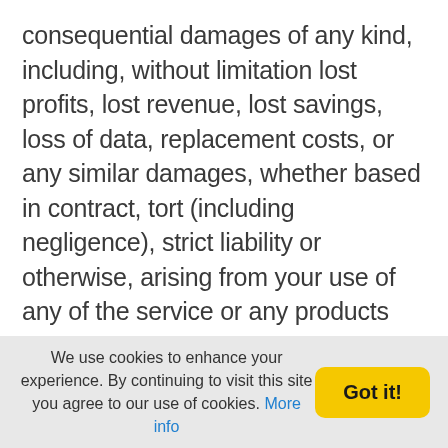consequential damages of any kind, including, without limitation lost profits, lost revenue, lost savings, loss of data, replacement costs, or any similar damages, whether based in contract, tort (including negligence), strict liability or otherwise, arising from your use of any of the service or any products procured using the service, or for any other claim related in any way to your use of the service or any product, including, but not limited to, any errors or omissions in any content, or any loss or damage of any kind incurred as a result of the use of the service or any content (or product) posted, transmitted, or otherwise made available via the service, even if advised of their possibility. Because
We use cookies to enhance your experience. By continuing to visit this site you agree to our use of cookies. More info